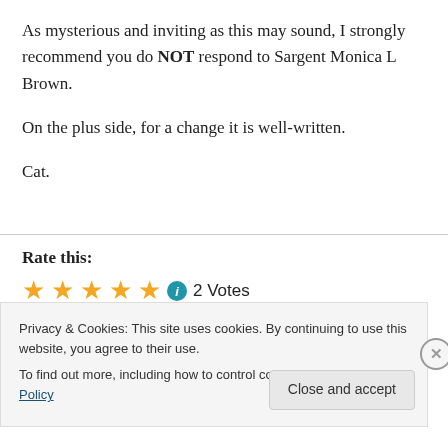As mysterious and inviting as this may sound, I strongly recommend you do NOT respond to Sargent Monica L Brown.
On the plus side, for a change it is well-written.
Cat.
Rate this:
2 Votes
Privacy & Cookies: This site uses cookies. By continuing to use this website, you agree to their use.
To find out more, including how to control cookies, see here: Cookie Policy